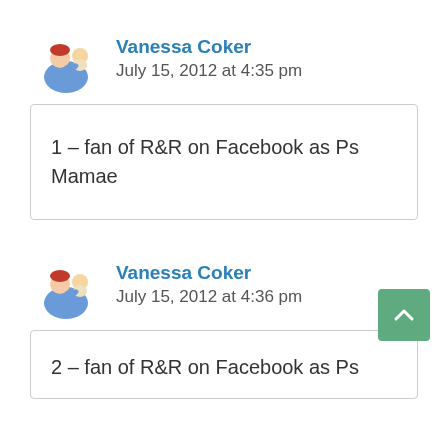Vanessa Coker
July 15, 2012 at 4:35 pm
1 – fan of R&R on Facebook as Ps Mamae
Vanessa Coker
July 15, 2012 at 4:36 pm
2 – fan of R&R on Facebook as Ps